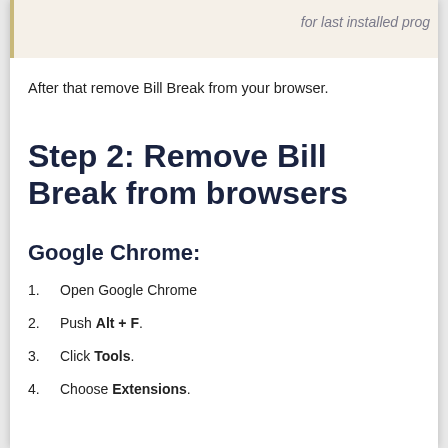for last installed prog
After that remove Bill Break from your browser.
Step 2: Remove Bill Break from browsers
Google Chrome:
1. Open Google Chrome
2. Push Alt + F.
3. Click Tools.
4. Choose Extensions.